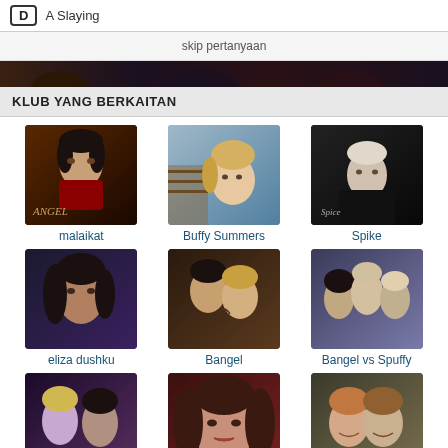D  A Slaying
skip pertanyaan
[Figure (screenshot): Dark banner strip with character faces at top]
KLUB YANG BERKAITAN
[Figure (photo): Angel character photo]
malaikat
[Figure (photo): Buffy Summers character photo]
Buffy Summers
[Figure (photo): Spike character photo]
Spike
[Figure (photo): Eliza Dushku photo]
eliza dushku
[Figure (photo): Bangel photo]
Bangel
[Figure (photo): Bangel vs Spuffy photo]
Bangel vs Spuffy
[Figure (photo): Buffy vs Faith photo]
Buffy vs Faith
[Figure (photo): Charisma Carpenter photo]
charisma carpenter
[Figure (photo): Willow & Oz photo]
Willow & Oz
klub yang lain >>
[Figure (photo): Dark banner strip with multiple character faces at bottom]